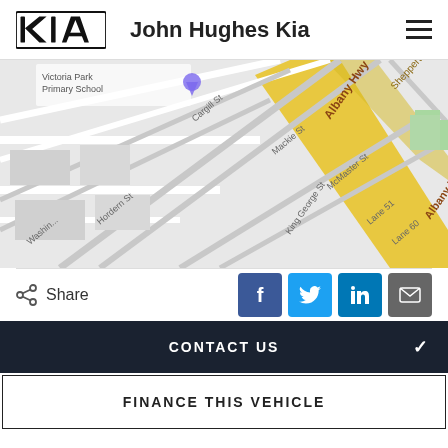John Hughes Kia
[Figure (map): Street map showing Albany Hwy, Shepperton Rd, Cargill St, Mackie St, McMaster St, Hordern St, Harvey St, Harper St, Lane 51, Lane 60, King George St, Washington area, and Victoria Park Primary School]
Share
CONTACT US
FINANCE THIS VEHICLE